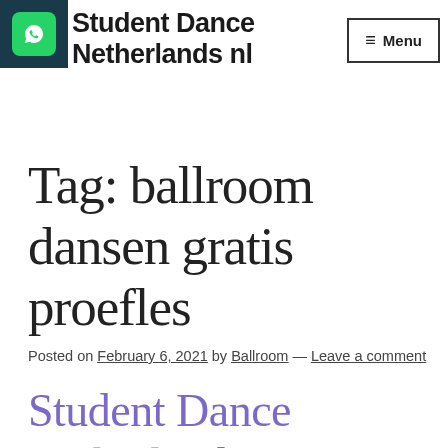Student Dance Netherlands nl
Tag: ballroom dansen gratis proefles
Posted on February 6, 2021 by Ballroom — Leave a comment
Student Dance Netherlands